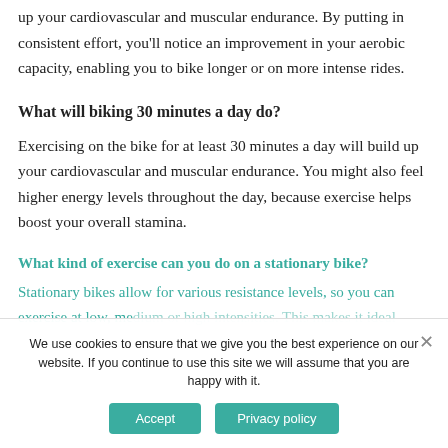up your cardiovascular and muscular endurance. By putting in consistent effort, you'll notice an improvement in your aerobic capacity, enabling you to bike longer or on more intense rides.
What will biking 30 minutes a day do?
Exercising on the bike for at least 30 minutes a day will build up your cardiovascular and muscular endurance. You might also feel higher energy levels throughout the day, because exercise helps boost your overall stamina.
What kind of exercise can you do on a stationary bike?
Stationary bikes allow for various resistance levels, so you can exercise at low, medium or high intensities. This makes it ideal
We use cookies to ensure that we give you the best experience on our website. If you continue to use this site we will assume that you are happy with it.